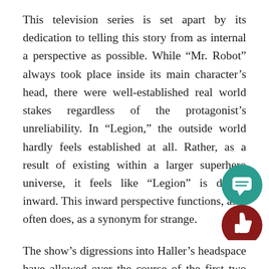This television series is set apart by its dedication to telling this story from as internal a perspective as possible. While “Mr. Robot” always took place inside its main character’s head, there were well-established real world stakes regardless of the protagonist’s unreliability. In “Legion,” the outside world hardly feels established at all. Rather, as a result of existing within a larger superhero universe, it feels like “Legion” is driven inward. This inward perspective functions, as it often does, as a synonym for strange.
The show’s digressions into Haller’s headspace have allowed over the course of the first two episodes an obese, “yellow-eyed” devil, a horrific children’s book and an impromptu dance number. It is all very colorful and o… The first episode, especially, moves incredibly fast. Not… does it establish Haller’s character, but it also kills off… closest friend, gives him an awkward romance and b… him out of his mental institution. By the end of the episode…
[Figure (other): Two circular UI overlay buttons in the bottom-right corner: a teal/green circle with a speech bubble (comment) icon, and a dark red/maroon circle with a thumbs-up icon.]